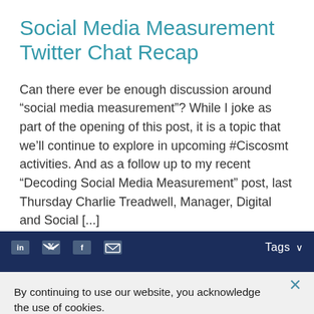Social Media Measurement Twitter Chat Recap
Can there ever be enough discussion around “social media measurement”? While I joke as part of the opening of this post, it is a topic that we’ll continue to explore in upcoming #Ciscosmt activities. And as a follow up to my recent “Decoding Social Media Measurement” post, last Thursday Charlie Treadwell, Manager, Digital and Social [...]
Tags ∨
By continuing to use our website, you acknowledge the use of cookies.
Privacy Statement > Change Settings >